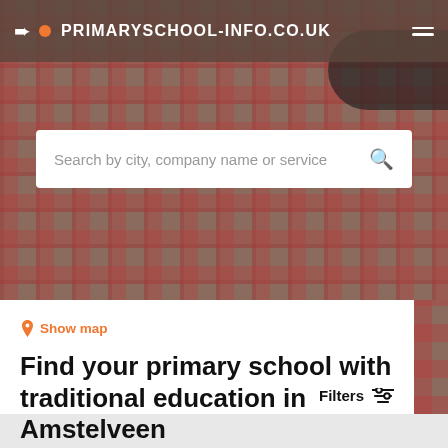PRIMARYSCHOOL-INFO.CO.UK
[Figure (screenshot): Search box with placeholder text 'Search by city, company name or service' and a search magnifying glass icon on the right]
Show map
Find your primary school with traditional education in Amstelveen
Find the best primary school with traditional education in Amstelveen based on your criteria.
Filters